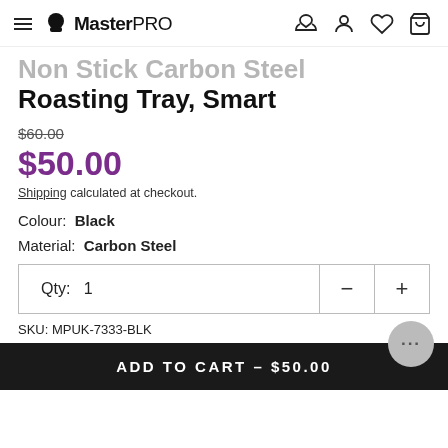MasterPro
Non Stick Carbon Steel Roasting Tray, Smart
$60.00 (strikethrough original price)
$50.00
Shipping calculated at checkout.
Colour: Black
Material: Carbon Steel
Qty: 1
SKU: MPUK-7333-BLK
ADD TO CART – $50.00